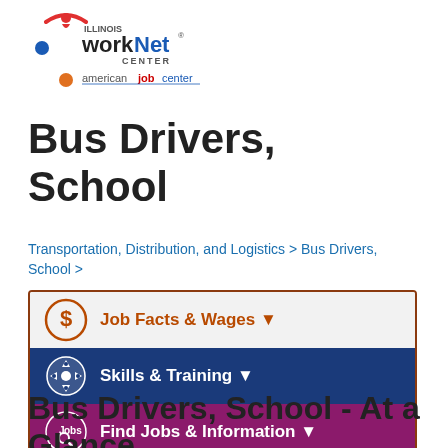[Figure (logo): Illinois workNet Center / americanjobcenter logo]
Bus Drivers, School
Transportation, Distribution, and Logistics > Bus Drivers, School >
[Figure (infographic): Navigation menu with three rows: Job Facts & Wages (orange/grey), Skills & Training (dark blue), Find Jobs & Information (purple)]
Bus Drivers, School - At a Glance